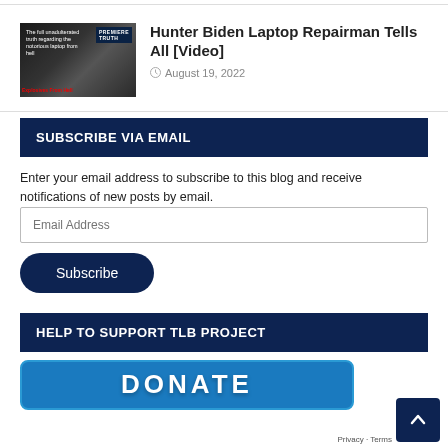[Figure (photo): Thumbnail image for article about Hunter Biden laptop repairman]
Hunter Biden Laptop Repairman Tells All [Video]
August 19, 2022
SUBSCRIBE VIA EMAIL
Enter your email address to subscribe to this blog and receive notifications of new posts by email.
HELP TO SUPPORT TLB PROJECT
[Figure (other): Donate button - blue rounded rectangle with DONATE text]